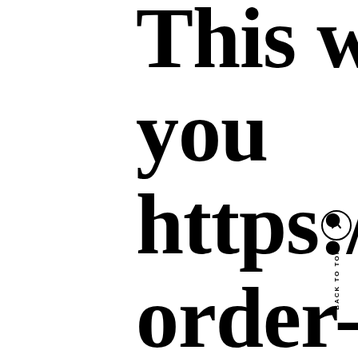This way, you https://mail-order-brides-guide.com/ should be able to see what you should do
BACK TO TOP